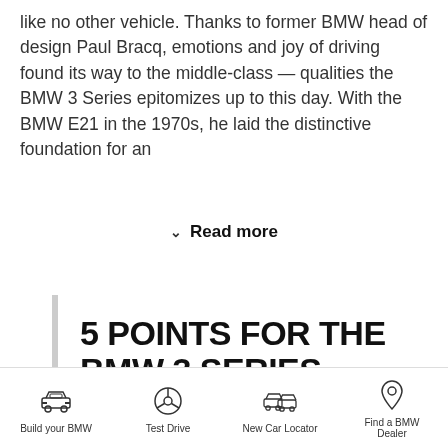like no other vehicle. Thanks to former BMW head of design Paul Bracq, emotions and joy of driving found its way to the middle-class — qualities the BMW 3 Series epitomizes up to this day. With the BMW E21 in the 1970s, he laid the distinctive foundation for an
Read more
5 POINTS FOR THE BMW 3 SERIES.
Build your BMW | Test Drive | New Car Locator | Find a BMW Dealer